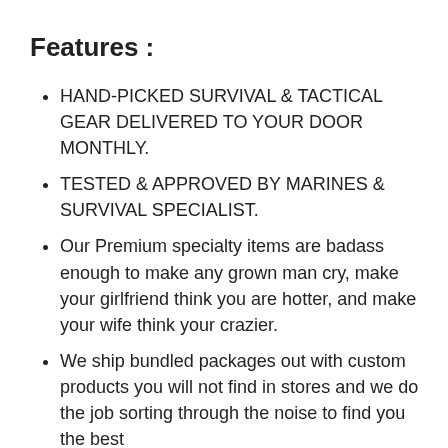Features :
HAND-PICKED SURVIVAL & TACTICAL GEAR DELIVERED TO YOUR DOOR MONTHLY.
TESTED & APPROVED BY MARINES & SURVIVAL SPECIALIST.
Our Premium specialty items are badass enough to make any grown man cry, make your girlfriend think you are hotter, and make your wife think your crazier.
We ship bundled packages out with custom products you will not find in stores and we do the job sorting through the noise to find you the best